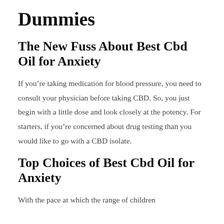Dummies
The New Fuss About Best Cbd Oil for Anxiety
If you’re taking medication for blood pressure, you need to consult your physician before taking CBD. So, you just begin with a little dose and look closely at the potency. For starters, if you’re concerned about drug testing than you would like to go with a CBD isolate.
Top Choices of Best Cbd Oil for Anxiety
With the pace at which the range of children